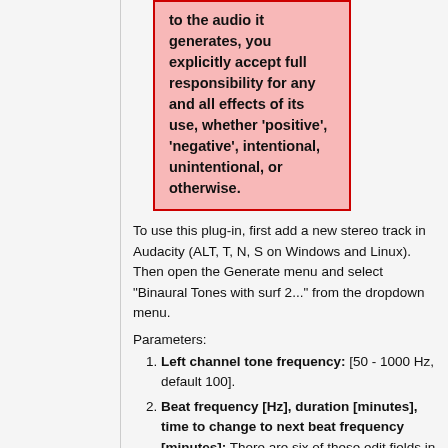to the audio it generates, you explicitly accept full responsibility for any and all effects of its use, whether 'positive', 'negative', intentional, unintentional, or otherwise.
To use this plug-in, first add a new stereo track in Audacity (ALT, T, N, S on Windows and Linux). Then open the Generate menu and select "Binaural Tones with surf 2..." from the dropdown menu.
Parameters:
Left channel tone frequency: [50 - 1000 Hz, default 100].
Beat frequency [Hz], duration [minutes], time to change to next beat frequency [minutes]: There are six of these edit fields in which you may enter up to three indicated values, separated by a space. The first of these